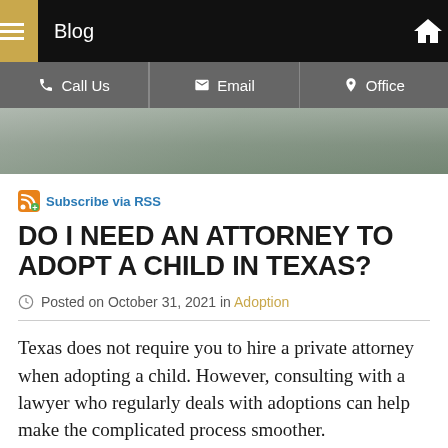Blog
[Figure (screenshot): Navigation bar with Call Us, Email, and Office action buttons]
[Figure (photo): Partial hero image showing a child in checkered clothing against blurred background]
Subscribe via RSS
DO I NEED AN ATTORNEY TO ADOPT A CHILD IN TEXAS?
Posted on October 31, 2021 in Adoption
Texas does not require you to hire a private attorney when adopting a child. However, consulting with a lawyer who regularly deals with adoptions can help make the complicated process smoother.